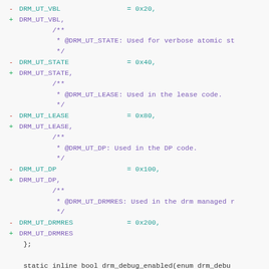Code diff showing DRM debug category enum changes and drm_debug_enabled function modification
[Figure (screenshot): Source code diff view showing removal of hex value assignments from DRM debug enum entries (DRM_UT_VBL, DRM_UT_STATE, DRM_UT_LEASE, DRM_UT_DP, DRM_UT_DRMRES) and modification of drm_debug_enabled function to use BIT(category) macro]